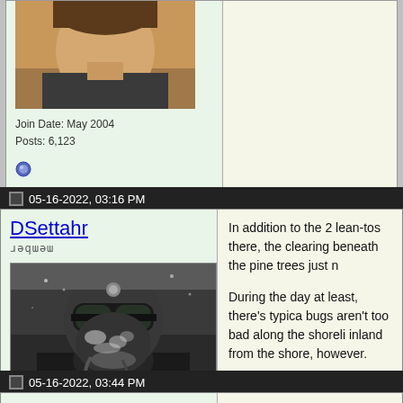[Figure (photo): Partial avatar photo of a person, cropped at top]
Join Date: May 2004
Posts: 6,123
[Figure (other): Blue status indicator circle icon]
05-16-2022, 03:16 PM
DSettahr
member
[Figure (photo): Avatar photo of DSettahr - person wearing winter gear/snow equipment with frost on face]
Join Date: May 2007
Posts: 5,469
[Figure (other): Blue status indicator circle icon]
In addition to the 2 lean-tos there, the clearing beneath the pine trees just n
During the day at least, there's typica bugs aren't too bad along the shoreli inland from the shore, however.
Last edited by DSettahr; 05-18-2022 at 12:03
05-16-2022, 03:44 PM
chairpack
FYI